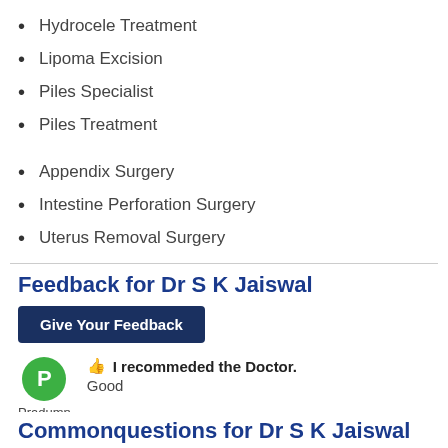Hydrocele Treatment
Lipoma Excision
Piles Specialist
Piles Treatment
Appendix Surgery
Intestine Perforation Surgery
Uterus Removal Surgery
Feedback for Dr S K Jaiswal
Give Your Feedback
I recommeded the Doctor.
Good
Pradumn
31 Dec, 2020
Show all feedback
Commonquestions for Dr S K Jaiswal